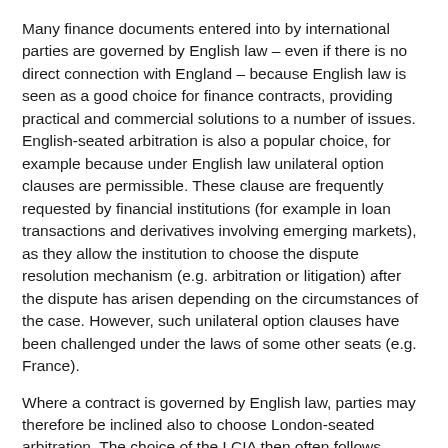Many finance documents entered into by international parties are governed by English law – even if there is no direct connection with England – because English law is seen as a good choice for finance contracts, providing practical and commercial solutions to a number of issues. English-seated arbitration is also a popular choice, for example because under English law unilateral option clauses are permissible. These clause are frequently requested by financial institutions (for example in loan transactions and derivatives involving emerging markets), as they allow the institution to choose the dispute resolution mechanism (e.g. arbitration or litigation) after the dispute has arisen depending on the circumstances of the case. However, such unilateral option clauses have been challenged under the laws of some other seats (e.g. France).
Where a contract is governed by English law, parties may therefore be inclined also to choose London-seated arbitration. The choice of the LCIA then often follows naturally when selecting an arbitration institution.
Arbitration – a dispute resolution mechanism which has become increasingly attractive to financial institutions